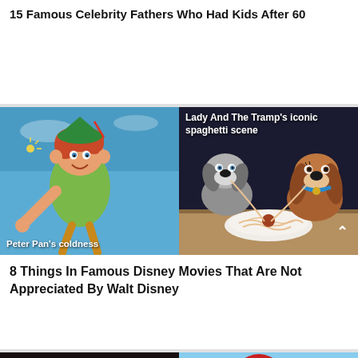15 Famous Celebrity Fathers Who Had Kids After 60
[Figure (illustration): Split image: left side shows Peter Pan cartoon character smiling with label 'Peter Pan's coldness'; right side shows Lady and the Tramp dogs sharing spaghetti with label 'Lady And The Tramp's iconic spaghetti scene']
8 Things In Famous Disney Movies That Are Not Appreciated By Walt Disney
[Figure (illustration): Partial split image at bottom: left side shows Lion King and Jungle Book characters (lions and tigers), right side shows The Little Mermaid character Ariel]